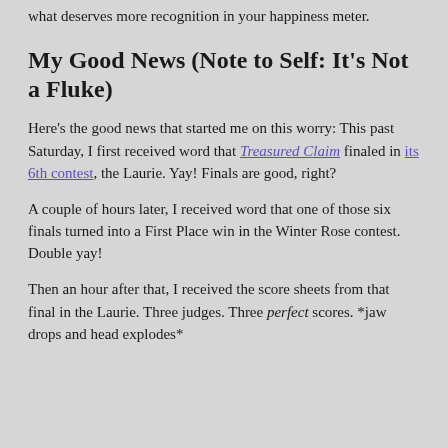what deserves more recognition in your happiness meter.
My Good News (Note to Self: It's Not a Fluke)
Here's the good news that started me on this worry: This past Saturday, I first received word that Treasured Claim finaled in its 6th contest, the Laurie. Yay! Finals are good, right?
A couple of hours later, I received word that one of those six finals turned into a First Place win in the Winter Rose contest. Double yay!
Then an hour after that, I received the score sheets from that final in the Laurie. Three judges. Three perfect scores. *jaw drops and head explodes*